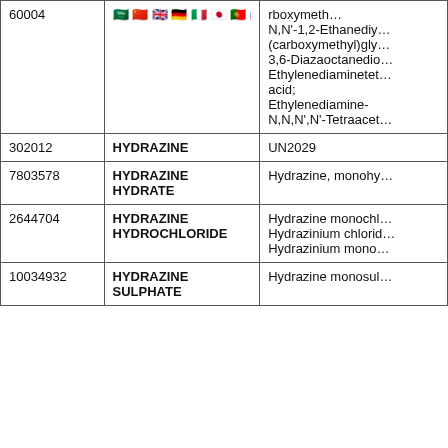| CAS / ID | Name | Synonyms / UN |
| --- | --- | --- |
| 60004 | [flags row] | rboxymethyl...
N,N'-1,2-Ethanediyl...
(carboxymethyl)gly...
3,6-Diazaoctanedio...
Ethylenediaminetet...
acid;
Ethylenediamine-
N,N,N',N'-Tetraacet... |
| 302012 | HYDRAZINE | UN2029 |
| 7803578 | HYDRAZINE HYDRATE | Hydrazine, monohy... |
| 2644704 | HYDRAZINE HYDROCHLORIDE | Hydrazine monochl...
Hydrazinium chlorid...
Hydrazinium mono... |
| 10034932 | HYDRAZINE SULPHATE | Hydrazine monosul... |